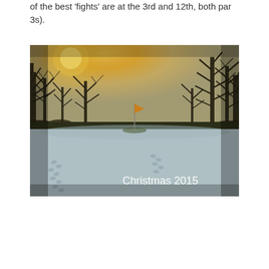of the best 'fights' are at the 3rd and 12th, both par 3s).
[Figure (photo): A golf course in winter snow with a flag pin on the green, bare trees silhouetted against a golden sunset sky. Text 'Christmas 2015' appears in white in the lower right corner.]